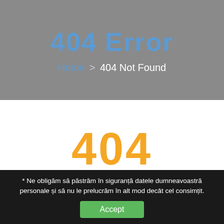404 Error
Home > 404 Not Found
[Figure (screenshot): Large yellow 404 text partially visible at bottom of white section]
* Ne obligăm să păstrăm în siguranță datele dumneavoastră personale și să nu le prelucrăm în alt mod decât cel consimțit.
Accept